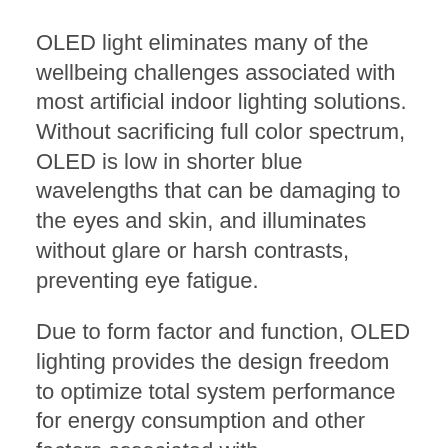OLED light eliminates many of the wellbeing challenges associated with most artificial indoor lighting solutions. Without sacrificing full color spectrum, OLED is low in shorter blue wavelengths that can be damaging to the eyes and skin, and illuminates without glare or harsh contrasts, preventing eye fatigue.
Due to form factor and function, OLED lighting provides the design freedom to optimize total system performance for energy consumption and other factors associated with